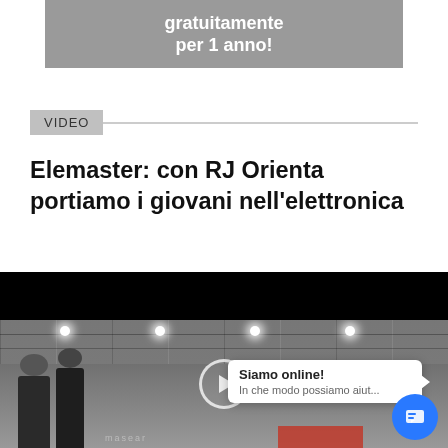[Figure (other): Grey promotional banner with white bold text: 'gratuitamente per 1 anno!']
VIDEO
Elemaster: con RJ Orienta portiamo i giovani nell’elettronica
[Figure (screenshot): Video thumbnail showing a room with ceiling lights, two people standing, and a play button overlay. A chat widget overlay shows 'Siamo online! In che modo possiamo aiut...' with a blue chat icon button.]